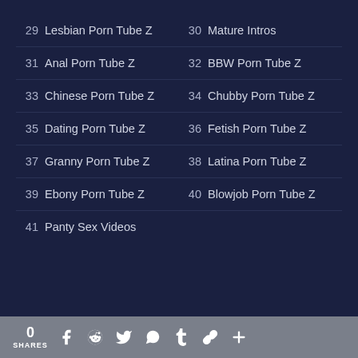29 Lesbian Porn Tube Z
30 Mature Intros
31 Anal Porn Tube Z
32 BBW Porn Tube Z
33 Chinese Porn Tube Z
34 Chubby Porn Tube Z
35 Dating Porn Tube Z
36 Fetish Porn Tube Z
37 Granny Porn Tube Z
38 Latina Porn Tube Z
39 Ebony Porn Tube Z
40 Blowjob Porn Tube Z
41 Panty Sex Videos
0 SHARES